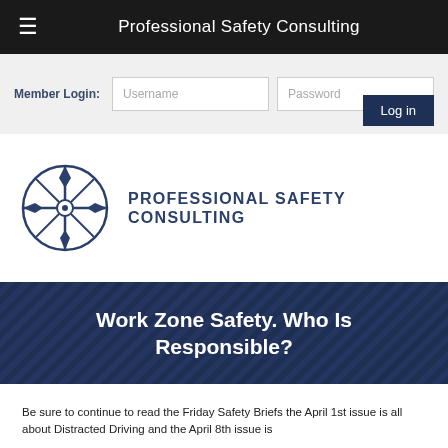Professional Safety Consulting
Member Login:  Username  Password  Log in
[Figure (logo): Professional Safety Consulting compass logo with company name text to the right]
Work Zone Safety. Who Is Responsible?
Be sure to continue to read the Friday Safety Briefs the April 1st issue is all about Distracted Driving and the April 8th issue is